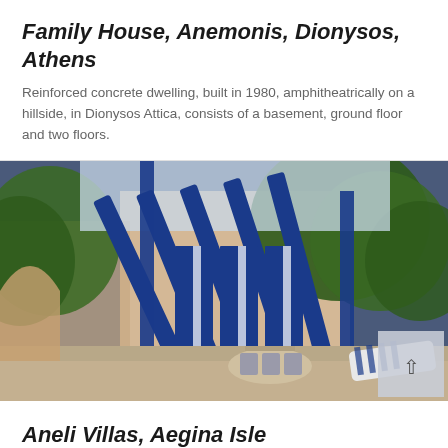Family House, Anemonis, Dionysos, Athens
Reinforced concrete dwelling, built in 1980, amphitheatrically on a hillside, in Dionysos Attica, consists of a basement, ground floor and two floors.
[Figure (photo): Exterior photo of a modern Greek house with a blue pergola/trellis structure, outdoor dining furniture, striped sun loungers, and surrounded by trees. Mediterranean architecture with blue wooden shutters and white walls.]
Aneli Villas, Aegina Isle